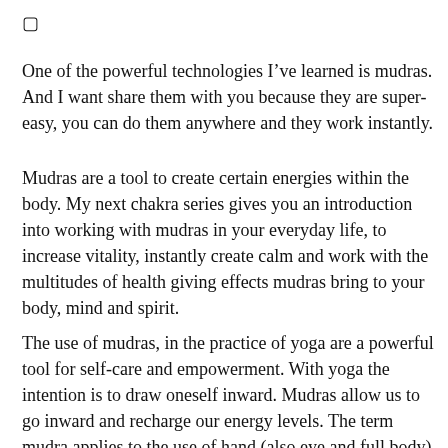□
One of the powerful technologies I’ve learned is mudras. And I want share them with you because they are super-easy, you can do them anywhere and they work instantly.
Mudras are a tool to create certain energies within the body. My next chakra series gives you an introduction into working with mudras in your everyday life, to increase vitality, instantly create calm and work with the multitudes of health giving effects mudras bring to your body, mind and spirit.
The use of mudras, in the practice of yoga are a powerful tool for self-care and empowerment. With yoga the intention is to draw oneself inward. Mudras allow us to go inward and recharge our energy levels. The term mudra applies to the use of hand (also eye and full body)